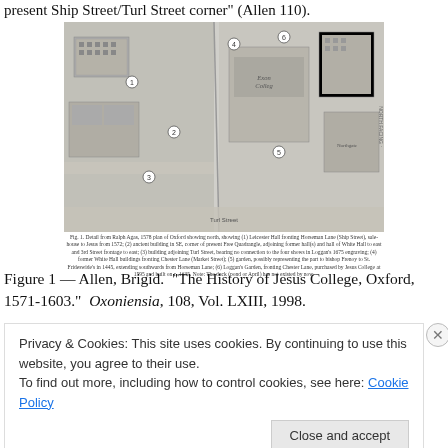present Ship Street/Turl Street corner" (Allen 110).
[Figure (illustration): Aerial/bird's-eye map drawing of Oxford city block showing historic buildings and streets numbered 1–6, from Ralph Agas 1578 plan of Oxford.]
Fig. 1. Detail from Ralph Agas, 1578 plan of Oxford showing north, showing (1) Leicester Hall fronting Horseman Lane (Ship Street), sale-house to Jesus from 1572; (2) ancient building in SE corner of present Free Quadrangle, adjoining Leicester Hall and hall of White Hall to east and 3rd Street frontage to east; (3) building adjoining Turl Street, bearing no connection to the Jesus shows in Loggan's 1675 engraving; (4) former White Hall buildings fronting Chester Lane (Market Street); (5) garden, possibly representing the part to Bishop Persey to St. Frideswide's in 1445, extending southwards from Horseman Lane; (6) Loggan's Garden, fronting Chester Lane, purchased by Jesus College in 1595 and built on c. 1635–36. Note: The duck (pond or April has not existed by row.
Figure 1 — Allen, Brigid.  "The History of Jesus College, Oxford, 1571-1603."  Oxoniensia, 108, Vol. LXIII, 1998.
Privacy & Cookies: This site uses cookies. By continuing to use this website, you agree to their use.
To find out more, including how to control cookies, see here: Cookie Policy
Close and accept